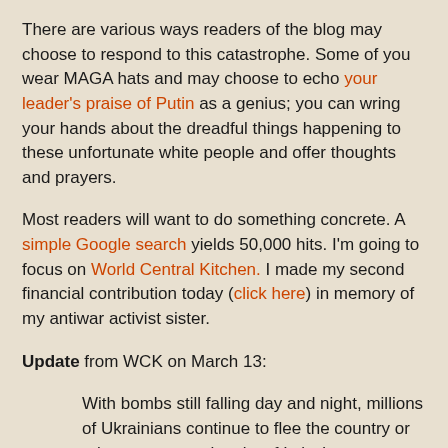There are various ways readers of the blog may choose to respond to this catastrophe.  Some of you wear MAGA hats and may choose to echo your leader's praise of Putin as a genius; you can wring your hands about the dreadful things happening to these unfortunate white people and offer thoughts and prayers.
Most readers will want to do something concrete.  A simple Google search yields 50,000 hits.  I'm going to focus on World Central Kitchen.  I made my second financial contribution today (click here) in memory of my antiwar activist sister.
Update from WCK on March 13:
With bombs still falling day and night, millions of Ukrainians continue to flee the country or relocate west to the city of Lviv. In response, WCK is rapidly expanding our #ChefsForUkraine response to distribute food—including hot, fresh meals—in five countries. We've now opened a kitchen and food supply depot in Poland